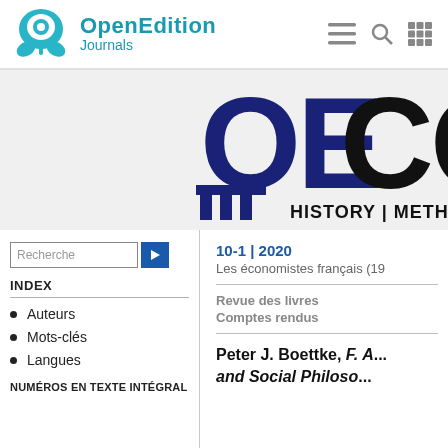OpenEdition Journals
[Figure (logo): OpenEdition Journals logo with teal plant/circle icon and text 'OpenEdition Journals']
[Figure (logo): OECON journal logo with dark blue letters and text 'HISTORY | METH...']
10-1 | 2020
Les économistes français (19...
Revue des livres
Comptes rendus
INDEX
Auteurs
Mots-clés
Langues
NUMÉROS EN TEXTE INTÉGRAL
Peter J. Boettke, F. A... and Social Philoso...